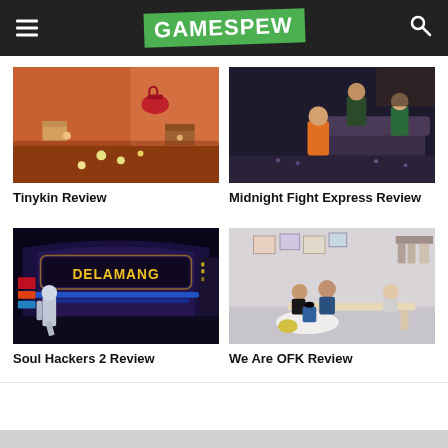GAMESPEW
[Figure (screenshot): Tinykin game screenshot showing a room interior with tiny creatures and scattered items in warm orange tones]
Tinykin Review
[Figure (screenshot): Midnight Fight Express game screenshot showing animated characters in a dark room setting]
Midnight Fight Express Review
[Figure (screenshot): Soul Hackers 2 game screenshot showing a neon-lit futuristic city street with DELAMANO signage]
Soul Hackers 2 Review
[Figure (screenshot): We Are OFK game screenshot showing animated characters in a cozy apartment setting]
We Are OFK Review